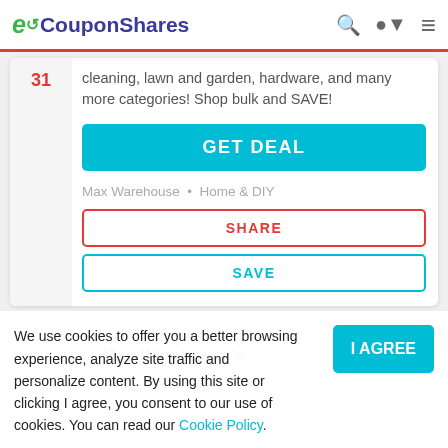eCouponShares
cleaning, lawn and garden, hardware, and many more categories! Shop bulk and SAVE!
GET DEAL
Max Warehouse • Home & DIY
SHARE
SAVE
Max Warehouse's
DEAL
We use cookies to offer you a better browsing experience, analyze site traffic and personalize content. By using this site or clicking I agree, you consent to our use of cookies. You can read our Cookie Policy.
I AGREE